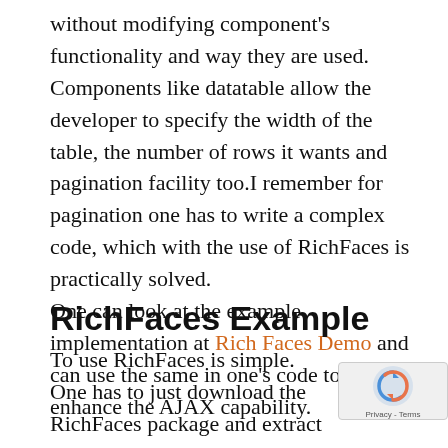without modifying component's functionality and way they are used. Components like datatable allow the developer to specify the width of the table, the number of rows it wants and pagination facility too.I remember for pagination one has to write a complex code, which with the use of RichFaces is practically solved.
One can look at the example implementation at Rich Faces Demo and can use the same in one's code to enhance the AJAX capability.
RichFaces Example
To use RichFaces is simple. One has to just download the RichFaces package and extract